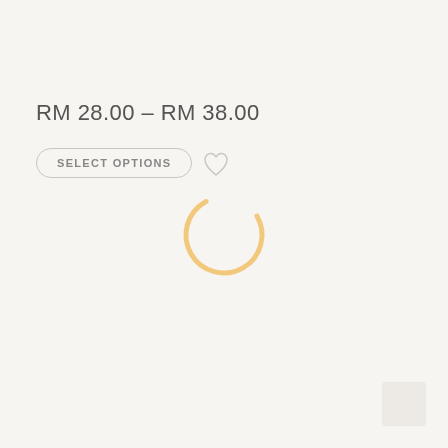Mandarin Collar Polo Black
RM 28.00 – RM 38.00
SELECT OPTIONS
[Figure (other): Loading spinner - orange/amber circular arc indicating content loading]
[Figure (other): Back to top button - light grey square in bottom right corner]